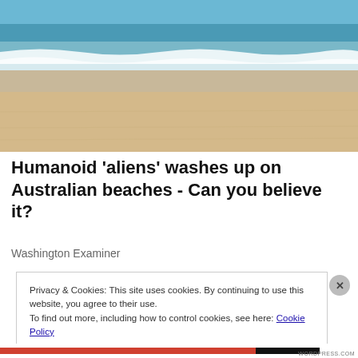[Figure (photo): A sandy Australian beach with ocean waves and blue sky in the background.]
Humanoid 'aliens' washes up on Australian beaches - Can you believe it?
Washington Examiner
Privacy & Cookies: This site uses cookies. By continuing to use this website, you agree to their use.
To find out more, including how to control cookies, see here: Cookie Policy
Close and accept